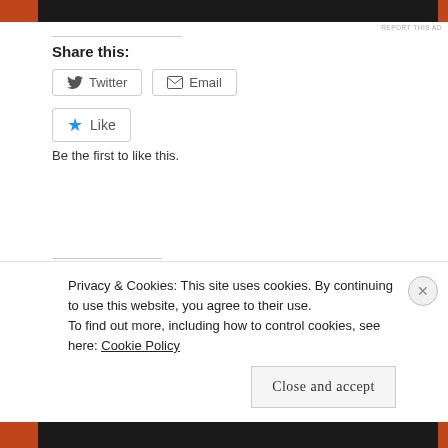[Figure (screenshot): Top orange and dark banner advertisement]
Share this:
[Figure (screenshot): Twitter share button]
[Figure (screenshot): Email share button]
[Figure (screenshot): Like button with blue star]
Be the first to like this.
Related
Inside Trail Commentary: Part II
Matt, Tim, welcome back
[Figure (photo): Two trail runners from behind, running through green vegetation]
Privacy & Cookies: This site uses cookies. By continuing to use this website, you agree to their use.
To find out more, including how to control cookies, see here: Cookie Policy
Close and accept